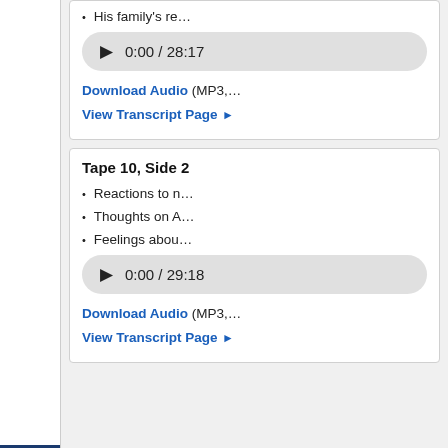His family's re…
0:00 / 28:17
Download Audio (MP3,…
View Transcript Page ▶
Tape 10, Side 2
Reactions to n…
Thoughts on A…
Feelings abou…
0:00 / 29:18
Download Audio (MP3,…
View Transcript Page ▶